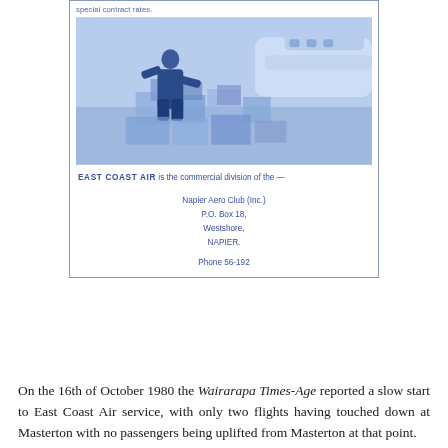[Figure (photo): Advertisement for East Coast Air showing a person loading cargo/freight boxes near a small aircraft. Blue-tinted photograph. Contains text: 'special contract rates.' at top, then the photo, then 'EAST COAST AIR is the commercial division of the --', followed by contact details for Napier Aero Club (Inc.), P.O. Box 18, Westshore, NAPIER. Phone 56-192.]
On the 16th of October 1980 the Wairarapa Times-Age reported a slow start to East Coast Air service, with only two flights having touched down at Masterton with no passengers being uplifted from Masterton at that point.